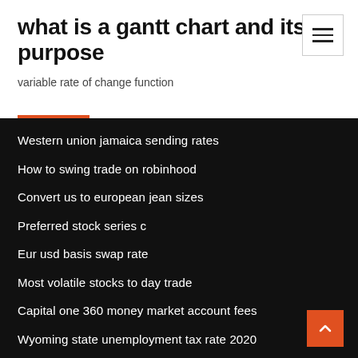what is a gantt chart and its purpose
variable rate of change function
Western union jamaica sending rates
How to swing trade on robinhood
Convert us to european jean sizes
Preferred stock series c
Eur usd basis swap rate
Most volatile stocks to day trade
Capital one 360 money market account fees
Wyoming state unemployment tax rate 2020